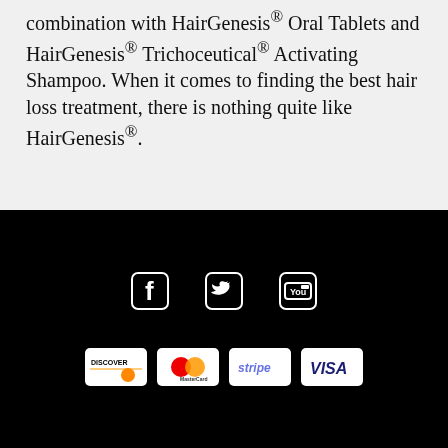combination with HairGenesis® Oral Tablets and HairGenesis® Trichoceutical® Activating Shampoo. When it comes to finding the best hair loss treatment, there is nothing quite like HairGenesis®.
[Figure (infographic): Social media icons: Facebook, Twitter, YouTube on black background]
[Figure (infographic): Payment method icons: Discover, MasterCard, Stripe, Visa on black background]